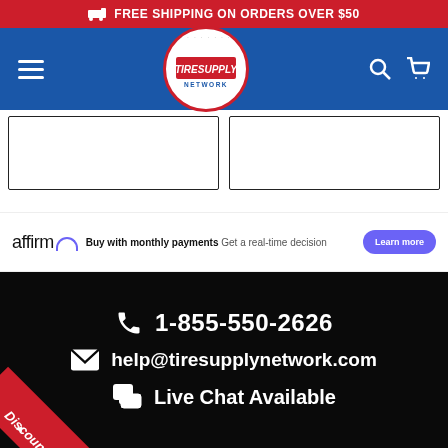FREE SHIPPING ON ORDERS OVER $50
[Figure (logo): TireSupply Network logo - circular badge with red border, white background, red banner with TIRESUPPLY text and NETWORK below]
[Figure (other): Two empty product image boxes side by side with black borders]
affirm  Buy with monthly payments  Get a real-time decision  Learn more
1-855-550-2626
help@tiresupplynetwork.com
Live Chat Available
Discount Code!